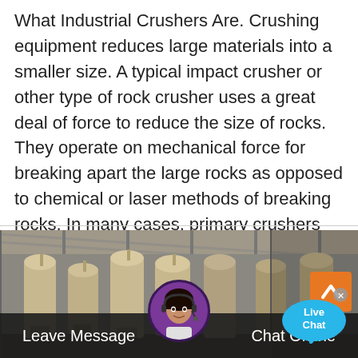What Industrial Crushers Are. Crushing equipment reduces large materials into a smaller size. A typical impact crusher or other type of rock crusher uses a great deal of force to reduce the size of rocks. They operate on mechanical force for breaking apart the large rocks as opposed to chemical or laser methods of breaking rocks. In many cases, primary crushers are a part of a ...
Read More
[Figure (photo): Industrial warehouse interior showing large cylindrical equipment/crushers arranged in a row under a metal roof structure]
Leave Message
Chat Online